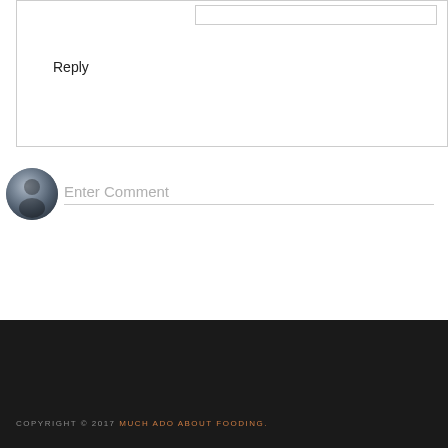Reply
Enter Comment
COPYRIGHT © 2017 MUCH ADO ABOUT FOODING.